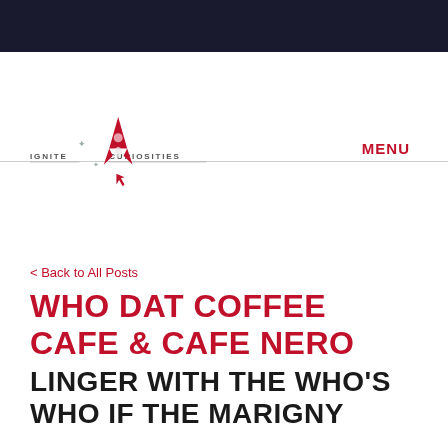[Figure (logo): Ignite Curiosities logo with red rocket and stars, text 'IGNITE CURIOSITIES']
MENU
< Back to All Posts
WHO DAT COFFEE CAFE & CAFE NERO
LINGER WITH THE WHO'S WHO IF THE MARIGNY